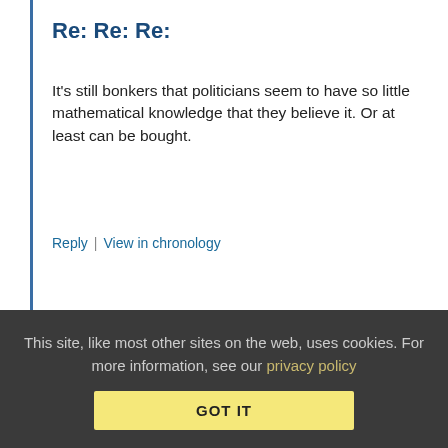Re: Re: Re:
It's still bonkers that politicians seem to have so little mathematical knowledge that they believe it. Or at least can be bought.
Reply | View in chronology
[Figure (infographic): Row of 5 icon buttons: lightbulb, laughing face emoji, speech bubble with quote marks, speech bubble with quote, flag]
[2]
Anonymous Coward   March 20, 2012 at 12:20 pm
This site, like most other sites on the web, uses cookies. For more information, see our privacy policy
GOT IT